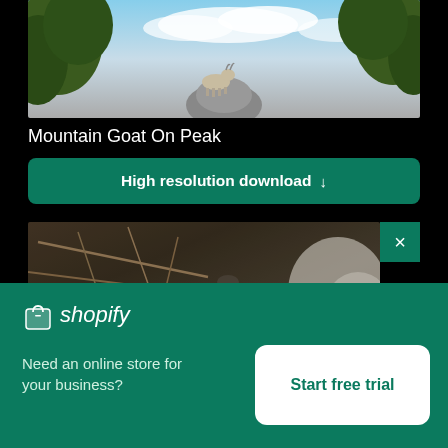[Figure (photo): Partial photo of a mountain goat standing on a rocky peak, with trees visible on the sides and cloudy sky in the background]
Mountain Goat On Peak
High resolution download ↓
[Figure (photo): Close-up photo of rocky ground with dry twigs and sticks, partial view of a blue bicycle wheel visible at the bottom]
[Figure (logo): Shopify logo with shopping bag icon and italic 'shopify' text in white on green background]
Need an online store for your business?
Start free trial